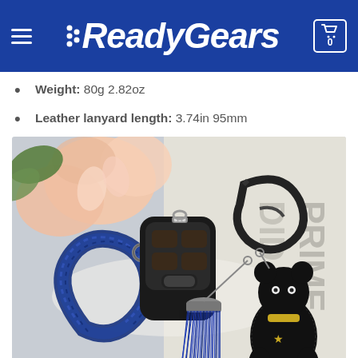ReadyGears
Weight: 80g 2.82oz
Leather lanyard length: 3.74in 95mm
[Figure (photo): Product photo showing a car key fob attached to a blue braided leather keychain with blue tassel and a black rhinestone bear figurine keychain charm, placed on a white surface with pink flowers in the background.]